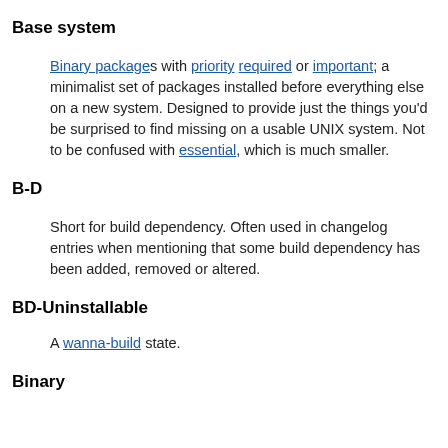Base system
Binary packages with priority required or important; a minimalist set of packages installed before everything else on a new system. Designed to provide just the things you'd be surprised to find missing on a usable UNIX system. Not to be confused with essential, which is much smaller.
B-D
Short for build dependency. Often used in changelog entries when mentioning that some build dependency has been added, removed or altered.
BD-Uninstallable
A wanna-build state.
Binary